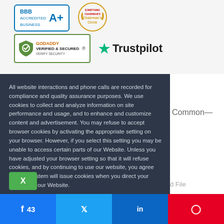[Figure (logo): BBB accredited business badge with blue border and A+ rating]
[Figure (logo): Chairman's Circle award badge with gold wreath]
[Figure (logo): GoDaddy Verified & Secured badge with shield icon]
[Figure (logo): Trustpilot logo with green star]
All website interactions and phone calls are recorded for compliance and quality assurance purposes. We use cookies to collect and analyze information on site performance and usage, and to enhance and customize content and advertisement. You may refuse to accept browser cookies by activating the appropriate setting on your browser. However, if you select this setting you may be unable to access certain parts of our Website. Unless you have adjusted your browser setting so that it will refuse cookies, and by continuing to use our website, you agree that our system will issue cookies when you direct your browser to our Website.
X
Common—
d File